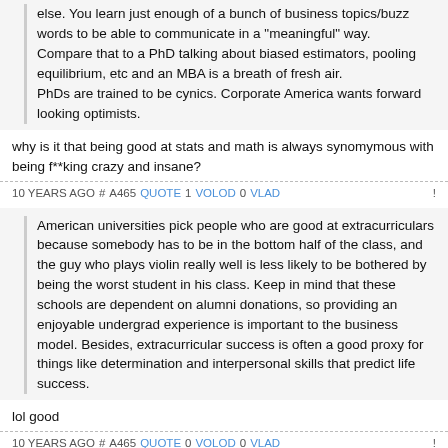else. You learn just enough of a bunch of business topics/buzz words to be able to communicate in a "meaningful" way.
Compare that to a PhD talking about biased estimators, pooling equilibrium, etc and an MBA is a breath of fresh air.
PhDs are trained to be cynics. Corporate America wants forward looking optimists.
why is it that being good at stats and math is always synomymous with being f**king crazy and insane?
10 YEARS AGO # A465 QUOTE 1 VOLOD 0 VLAD !
American universities pick people who are good at extracurriculars because somebody has to be in the bottom half of the class, and the guy who plays violin really well is less likely to be bothered by being the worst student in his class. Keep in mind that these schools are dependent on alumni donations, so providing an enjoyable undergrad experience is important to the business model. Besides, extracurricular success is often a good proxy for things like determination and interpersonal skills that predict life success.
lol good
10 YEARS AGO # A465 QUOTE 0 VOLOD 0 VLAD !